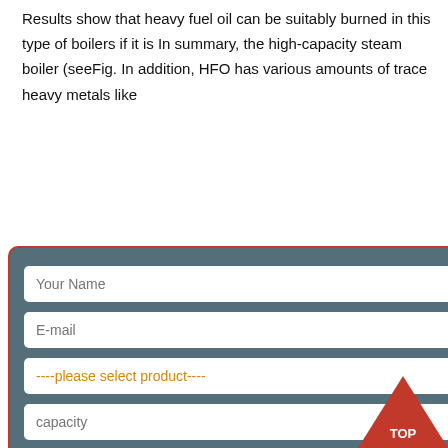Results show that heavy fuel oil can be suitably burned in this type of boilers if it is In summary, the high-capacity steam boiler (seeFig. In addition, HFO has various amounts of trace heavy metals like
[Figure (screenshot): A contact/inquiry form modal popup with fields: Your Name, E-mail, a product dropdown (----please select product----), capacity field, and a SUBMIT button. The modal has a dark teal/slate background with a red border, and a close button X in the top right.]
iew More
[Figure (photo): Industrial boiler equipment - large blue/teal boiler tanks with yellow piping in an industrial facility.]
Properties, Challenges and
HFO or heavy fuel oil is the most widely used type of fuels for commercial chamber of the engine or to generate steam inside the